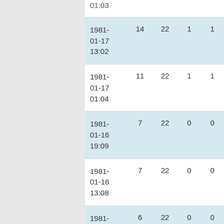| date | col1 | col2 | col3 | col4 |
| --- | --- | --- | --- | --- |
| 01:03 |  |  |  |  |
| 1981-01-17 13:02 | 14 | 22 | 1 | 1 |
| 1981-01-17 01:04 | 11 | 22 | 1 | 1 |
| 1981-01-16 19:09 | 7 | 22 | 0 | 0 |
| 1981-01-16 13:08 | 7 | 22 | 0 | 0 |
| 1981-01-16 07:02 | 6 | 22 | 0 | 0 |
| 1981-01-16 ... | 7 | 22 | 0 | 0 |